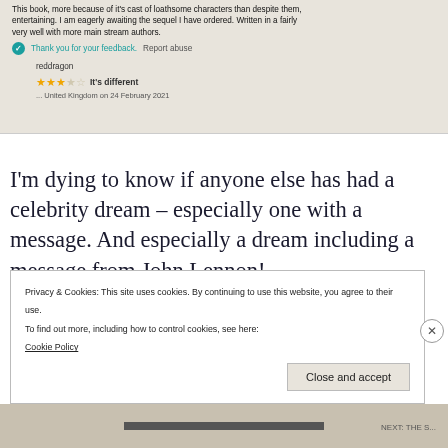[Figure (screenshot): Screenshot of an Amazon book review page showing partial review text, a 'Thank you for your feedback' confirmation with teal checkmark and 'Report abuse' link, reviewer username 'reddragon', 3.5-star rating, review title 'It's different', and partial date line showing 'United Kingdom on 24 February 2021'.]
I'm dying to know if anyone else has had a celebrity dream – especially one with a message. And especially a dream including a message from John Lennon!
Privacy & Cookies: This site uses cookies. By continuing to use this website, you agree to their use.
To find out more, including how to control cookies, see here:
Cookie Policy

Close and accept